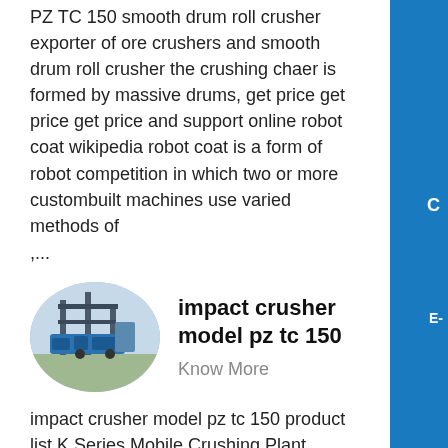PZ TC 150 smooth drum roll crusher exporter of ore crushers and smooth drum roll crusher the crushing chaer is formed by massive drums, get price get price get price and support online robot coat wikipedia robot coat is a form of robot competition in which two or more custombuilt machines use varied methods of ,...
[Figure (photo): Circular thumbnail photo of industrial crushing/screening machinery with blue and grey equipment structures]
impact crusher model pz tc 150
Know More
impact crusher model pz tc 150 product list K Series Mobile Crushing Plant Mobile Vibrating Screen Belt Conveyer Sand Washing Machine S5X Series Vibrating Screen GF Series Vibrating Feeder Ball Mill Raymond Mill MW Series Micro Powder Mill T130X Superfine Grinding Mill MTW Trapezium Mill...